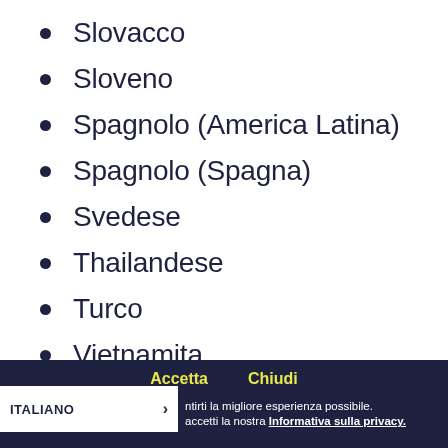Slovacco
Sloveno
Spagnolo (America Latina)
Spagnolo (Spagna)
Svedese
Thailandese
Turco
Vietnamita
Accetta  Chiudi  ITALIANO >  ntirti la migliore esperienza possibile. accetti la nostra Informativa sulla privacy.